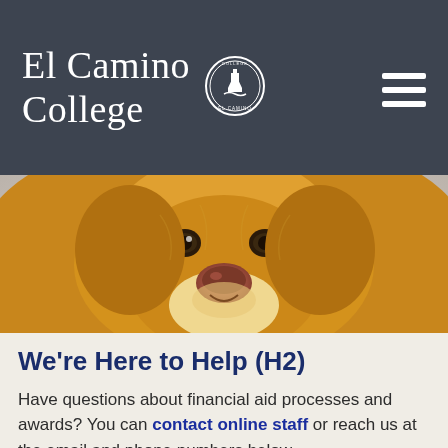El Camino College
[Figure (photo): Close-up photo of a golden retriever dog looking at the camera against a light background]
We're Here to Help (H2)
Have questions about financial aid processes and awards? You can contact online staff or reach us at the email and phone numbers below.